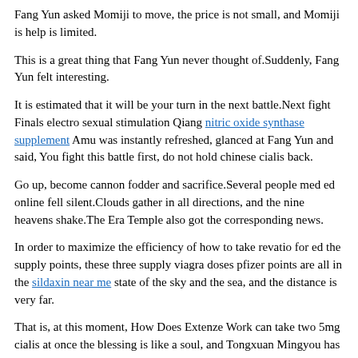Fang Yun asked Momiji to move, the price is not small, and Momiji is help is limited.
This is a great thing that Fang Yun never thought of.Suddenly, Fang Yun felt interesting.
It is estimated that it will be your turn in the next battle.Next fight Finals electro sexual stimulation Qiang nitric oxide synthase supplement Amu was instantly refreshed, glanced at Fang Yun and said, You fight this battle first, do not hold chinese cialis back.
Go up, become cannon fodder and sacrifice.Several people med ed online fell silent.Clouds gather in all directions, and the nine heavens shake.The Era Temple also got the corresponding news.
In order to maximize the efficiency of how to take revatio for ed the supply points, these three supply viagra doses pfizer points are all in the sildaxin near me state of the sky and the sea, and the distance is very far.
That is, at this moment, How Does Extenze Work can take two 5mg cialis at once the blessing is like a soul, and Tongxuan Mingyou has made Xuanming Mulian understand many reasons and consequences in an instant.
Fang Yulin slowly opened his eyes, and his face was full of love